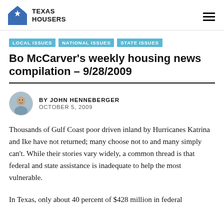TEXAS HOUSERS
LOCAL ISSUES
NATIONAL ISSUES
STATE ISSUES
Bo McCarver's weekly housing news compilation – 9/28/2009
BY JOHN HENNEBERGER
OCTOBER 5, 2009
Thousands of Gulf Coast poor driven inland by Hurricanes Katrina and Ike have not returned; many choose not to and many simply can't. While their stories vary widely, a common thread is that federal and state assistance is inadequate to help the most vulnerable.
In Texas, only about 40 percent of $428 million in federal